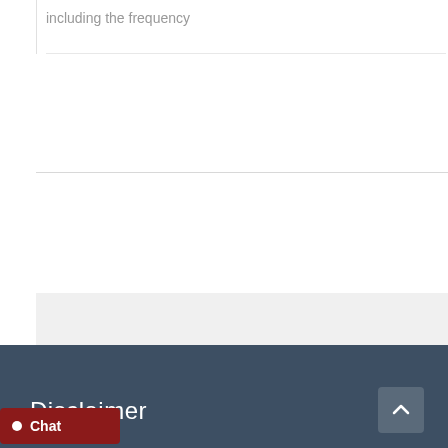including the frequency
Disclaimer